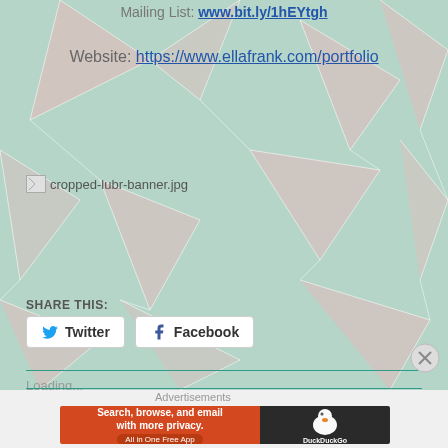Mailing List: www.bit.ly/1hEYtgh
Website: https://www.ellafrank.com/portfolio
[Figure (other): Broken image placeholder showing 'cropped-lubr-banner.jpg']
SHARE THIS:
Twitter  Facebook
Loading...
Advertisements
[Figure (other): DuckDuckGo advertisement banner: Search, browse, and email with more privacy. All in One Free App.]